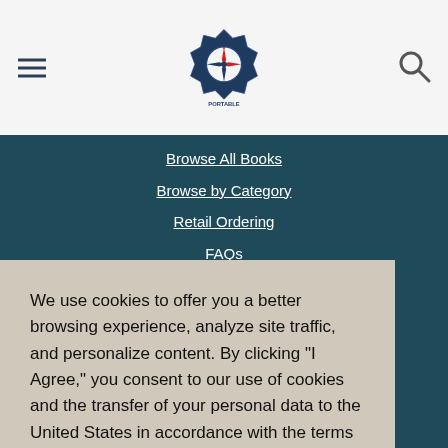[Figure (logo): Portable Press compass logo — dark navy badge with compass rose, red arrow points, and 'PORTABLE PRESS' text below]
Browse All Books
Browse by Category
Retail Ordering
FAQs
We use cookies to offer you a better browsing experience, analyze site traffic, and personalize content. By clicking "I Agree," you consent to our use of cookies and the transfer of your personal data to the United States in accordance with the terms of our Privacy Policy.
I Agree